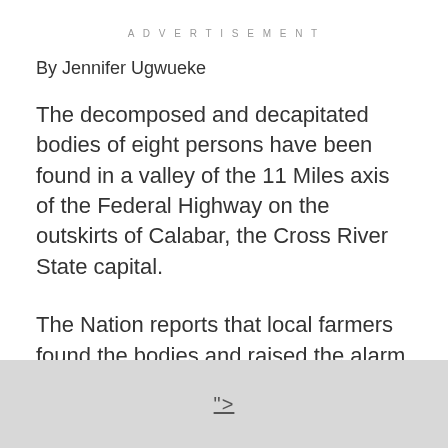ADVERTISEMENT
By Jennifer Ugwueke
The decomposed and decapitated bodies of eight persons have been found in a valley of the 11 Miles axis of the Federal Highway on the outskirts of Calabar, the Cross River State capital.
The Nation reports that local farmers found the bodies and raised the alarm which attracted some travellers and passersby on Tuesday, April 13.
Confirming the incident, the spokesman of the State command of the Nigeria Security Civil Defense Corps (NCSDC), Barong confirmed the incident…
">